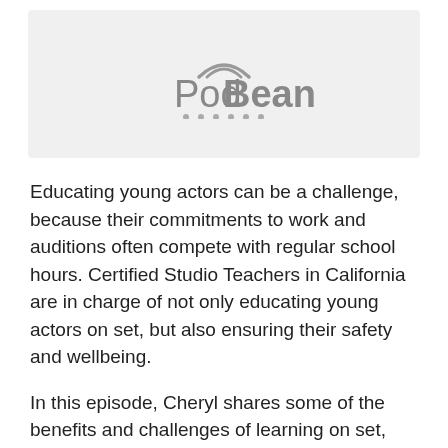[Figure (logo): PodBean podcast platform logo with wifi/signal arc above text and decorative dots below, on a light gray background]
Educating young actors can be a challenge, because their commitments to work and auditions often compete with regular school hours. Certified Studio Teachers in California are in charge of not only educating young actors on set, but also ensuring their safety and wellbeing.
In this episode, Cheryl shares some of the benefits and challenges of learning on set, how studio teachers coordinate with a young actor's school, the relationship of work permits and grades, some of the laws protecting minor actors, safeguards that